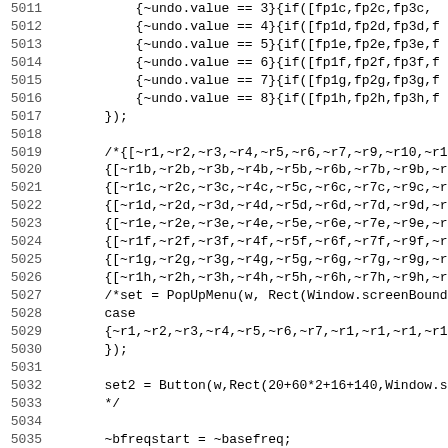Code listing lines 5011-5042, source code in a programming language with line numbers on the left and code on the right.